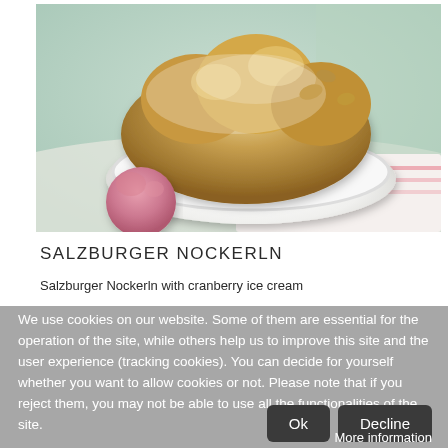[Figure (photo): Photo of Salzburger Nockerln (Austrian souffle pastry dusted with powdered sugar) in a white oval baking dish, with a pink cranberry ice cream scoop in the foreground, on a light green and white background with a striped cloth.]
SALZBURGER NOCKERLN
Salzburger Nockerln with cranberry ice cream
We use cookies on our website. Some of them are essential for the operation of the site, while others help us to improve this site and the user experience (tracking cookies). You can decide for yourself whether you want to allow cookies or not. Please note that if you reject them, you may not be able to use all the functionalities of the site.